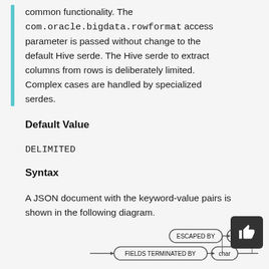common functionality. The com.oracle.bigdata.rowformat access parameter is passed without change to the default Hive serde. The Hive serde to extract columns from rows is deliberately limited. Complex cases are handled by specialized serdes.
Default Value
DELIMITED
Syntax
A JSON document with the keyword-value pairs is shown in the following diagram.
rowformat:
[Figure (schematic): Railroad/syntax diagram showing rowformat with FIELDS TERMINATED BY, char, ESCAPED BY, char nodes]